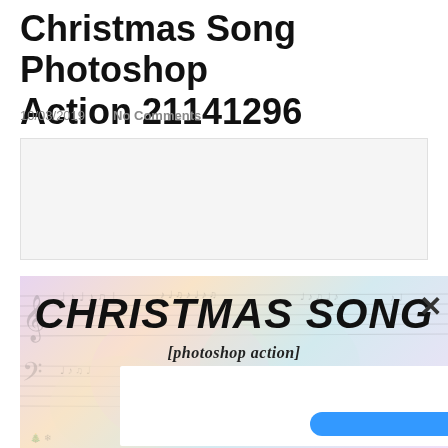Christmas Song Photoshop Action 21141296
10/03/2019    No Comments
[Figure (illustration): Light gray placeholder advertisement box]
[Figure (illustration): Christmas Song photoshop action banner with music sheet background, colorful gradient overlay, large bold italic text 'CHRISTMAS SONG' and subtitle '[photoshop action]', with an overlay ad panel containing a blue CTA button and a close X button in the top right corner]